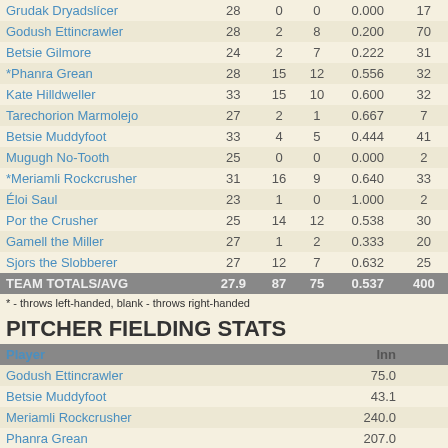| Player | GP | W | L | Pct | ... |
| --- | --- | --- | --- | --- | --- |
| Grudak Dryadslícer | 28 | 0 | 0 | 0.000 | 17 |
| Godush Ettincrawler | 28 | 2 | 8 | 0.200 | 70 |
| Betsie Gilmore | 24 | 2 | 7 | 0.222 | 31 |
| *Phanra Grean | 28 | 15 | 12 | 0.556 | 32 |
| Kate Hilldweller | 33 | 15 | 10 | 0.600 | 32 |
| Tarechorion Marmolejo | 27 | 2 | 1 | 0.667 | 7 |
| Betsie Muddyfoot | 33 | 4 | 5 | 0.444 | 41 |
| Mugugh No-Tooth | 25 | 0 | 0 | 0.000 | 2 |
| *Meriamli Rockcrusher | 31 | 16 | 9 | 0.640 | 33 |
| Éloi Saul | 23 | 1 | 0 | 1.000 | 2 |
| Por the Crusher | 25 | 14 | 12 | 0.538 | 30 |
| Gamell the Miller | 27 | 1 | 2 | 0.333 | 20 |
| Sjors the Slobberer | 27 | 12 | 7 | 0.632 | 25 |
| TEAM TOTALS/AVG | 27.9 | 87 | 75 | 0.537 | 400 |
* - throws left-handed, blank - throws right-handed
PITCHER FIELDING STATS
| Player | Inn | ... |
| --- | --- | --- |
| Godush Ettincrawler | 75.0 |
| Betsie Muddyfoot | 43.1 |
| Meriamli Rockcrusher | 240.0 |
| Phanra Grean | 207.0 |